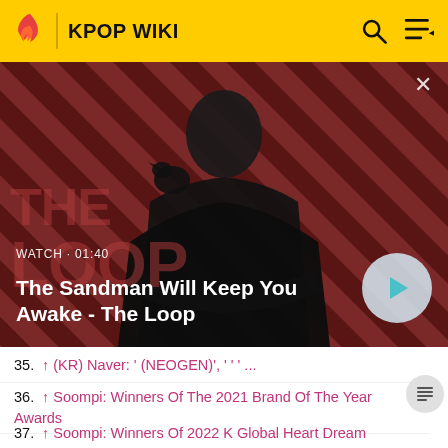KPOP WIKI
[Figure (screenshot): Video banner showing a dark-dressed person with a raven on their shoulder against a red diagonal striped background. Text reads WATCH · 01:40 and title The Sandman Will Keep You Awake - The Loop with a play button.]
35. ↑ (KR) Naver: ' (NEOGEN)', ' ' ' ...
36. ↑ Soompi: Winners Of The 2021 Brand Of The Year Awards
37. ↑ Soompi: Winners Of 2022 K Global Heart Dream Awards